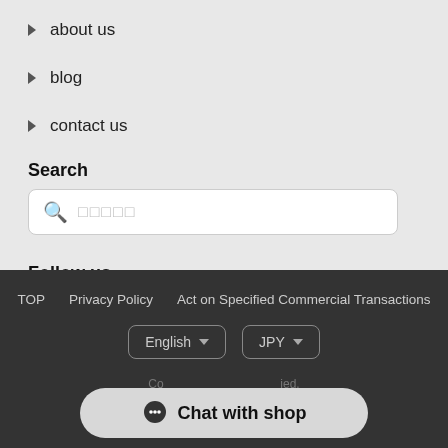about us
blog
contact us
Search
[Figure (screenshot): Search input box with magnifier icon and placeholder text]
Follow us
[Figure (illustration): Social media icons: Instagram, Twitter, Facebook]
TOP   Privacy Policy   Act on Specified Commercial Transactions
[Figure (screenshot): Language selector showing English and currency selector showing JPY]
Co...ied.
[Figure (screenshot): Chat with shop button]